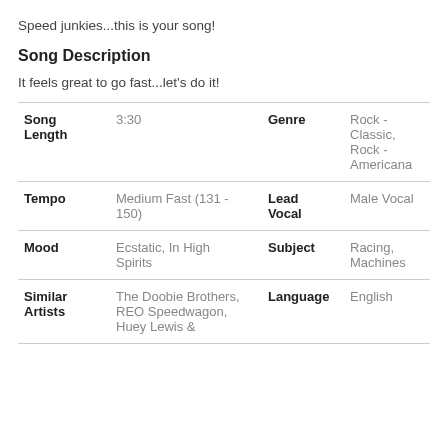Speed junkies...this is your song!
Song Description
It feels great to go fast...let's do it!
| Song Length | 3:30 | Genre | Rock - Classic, Rock - Americana |
| --- | --- | --- | --- |
| Song Length | 3:30 | Genre | Rock - Classic, Rock - Americana |
| Tempo | Medium Fast (131 - 150) | Lead Vocal | Male Vocal |
| Mood | Ecstatic, In High Spirits | Subject | Racing, Machines |
| Similar Artists | The Doobie Brothers, REO Speedwagon, Huey Lewis & | Language | English |